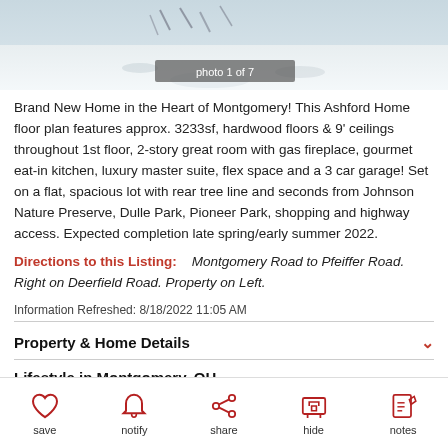[Figure (photo): Aerial/outdoor photo of snowy property with 'photo 1 of 7' overlay label]
Brand New Home in the Heart of Montgomery! This Ashford Home floor plan features approx. 3233sf, hardwood floors & 9' ceilings throughout 1st floor, 2-story great room with gas fireplace, gourmet eat-in kitchen, luxury master suite, flex space and a 3 car garage! Set on a flat, spacious lot with rear tree line and seconds from Johnson Nature Preserve, Dulle Park, Pioneer Park, shopping and highway access. Expected completion late spring/early summer 2022.
Directions to this Listing:   Montgomery Road to Pfeiffer Road. Right on Deerfield Road. Property on Left.
Information Refreshed: 8/18/2022 11:05 AM
Property & Home Details
Lifestyle in Montgomery, OH
save  notify  share  hide  notes